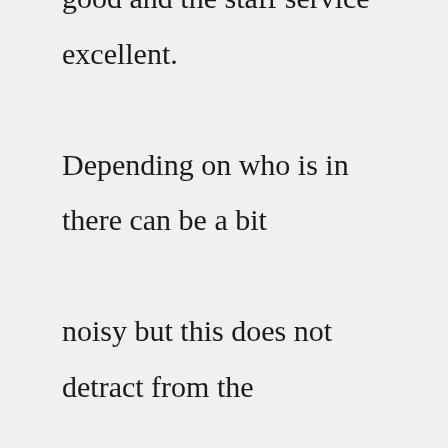good and the staff service excellent. Depending on who is in there can be a bit noisy but this does not detract from the overall ambience. Afficher.Welcome to Saltbox Village - on the northeast corner of Kildaire Farm Road and High Meadow Drive, behind McDonald's and next to Town and Country Hardware. We are located among several upscale boutiques, restaurants and retail stores with plenty of parking. Sola Salons Saltbox features